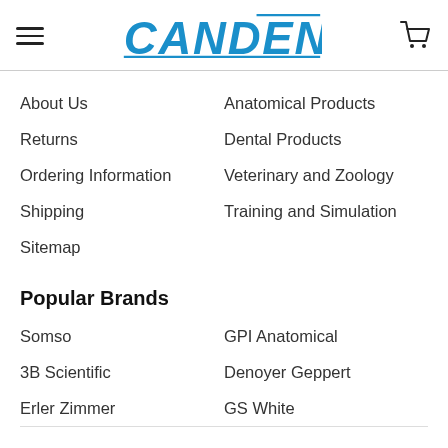CANDENT
About Us
Returns
Ordering Information
Shipping
Sitemap
Anatomical Products
Dental Products
Veterinary and Zoology
Training and Simulation
Popular Brands
Somso
3B Scientific
Erler Zimmer
GPI Anatomical
Denoyer Geppert
GS White